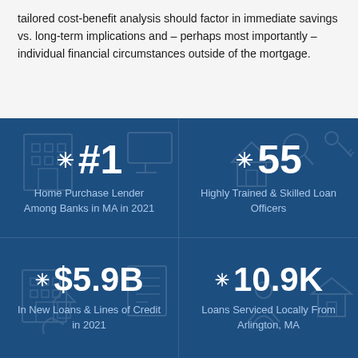tailored cost-benefit analysis should factor in immediate savings vs. long-term implications and – perhaps most importantly – individual financial circumstances outside of the mortgage.
[Figure (infographic): Dark blue infographic panel with four statistics in a 2x2 grid: #1 Home Purchase Lender Among Banks in MA in 2021; 55 Highly Trained & Skilled Loan Officers; $5.9B In New Loans & Lines of Credit in 2021; 10.9K Loans Serviced Locally From Arlington, MA. Each stat has a sparkle/asterisk icon. Background has faint line-art icons.]